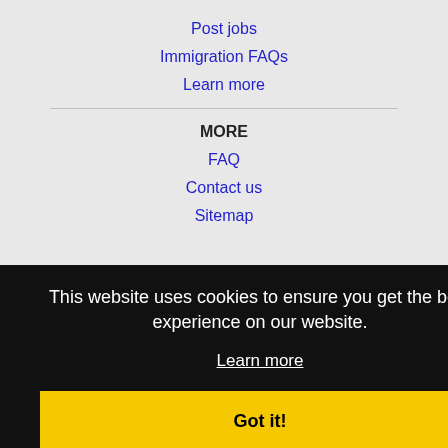Post jobs
Immigration FAQs
Learn more
MORE
FAQ
Contact us
Sitemap
This website uses cookies to ensure you get the best experience on our website.
Learn more
Got it!
Port Arthur, TX Jobs